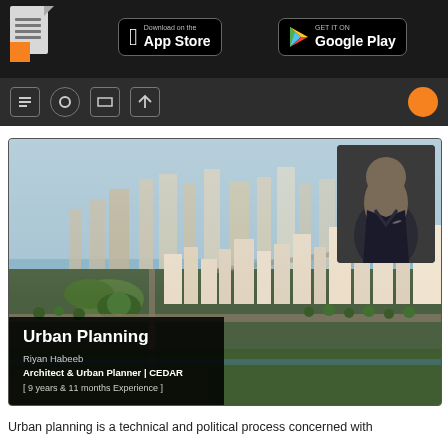Urban Planning course page header with App Store and Google Play download buttons
[Figure (screenshot): Urban planning aerial city view with instructor profile overlay. Title: Urban Planning. Instructor: Riyan Habeeb, Architect & Urban Planner | CEDAR. Experience: 9 years & 11 months.]
Urban planning is a technical and political process concerned with